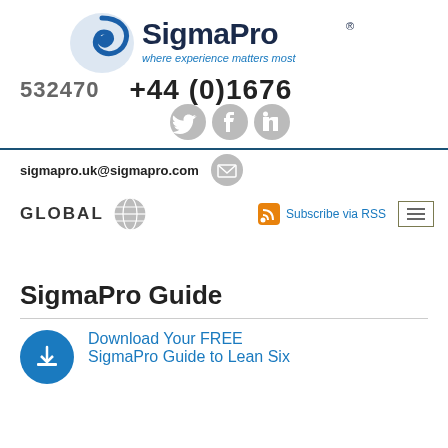[Figure (logo): SigmaPro logo with blue swirl icon and text 'SigmaPro where experience matters most' with registered trademark symbol]
+44 (0)1676 532470
[Figure (infographic): Social media icons: Twitter, Facebook, LinkedIn]
sigmapro.uk@sigmapro.com
[Figure (infographic): Email icon, globe icon for GLOBAL, RSS subscribe icon, and hamburger menu icon]
GLOBAL
Subscribe via RSS
SigmaPro Guide
Download Your FREE SigmaPro Guide to Lean Six